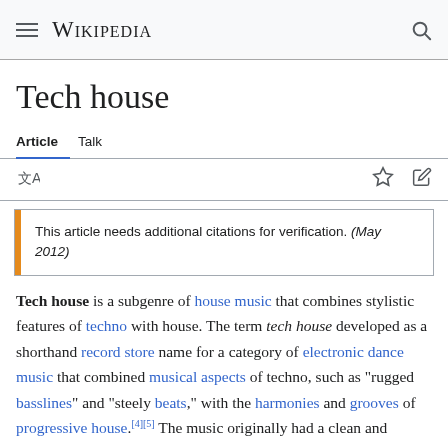Wikipedia
Tech house
Article   Talk
This article needs additional citations for verification. (May 2012)
Tech house is a subgenre of house music that combines stylistic features of techno with house. The term tech house developed as a shorthand record store name for a category of electronic dance music that combined musical aspects of techno, such as "rugged basslines" and "steely beats," with the harmonies and grooves of progressive house.[4][5] The music originally had a clean and minimal